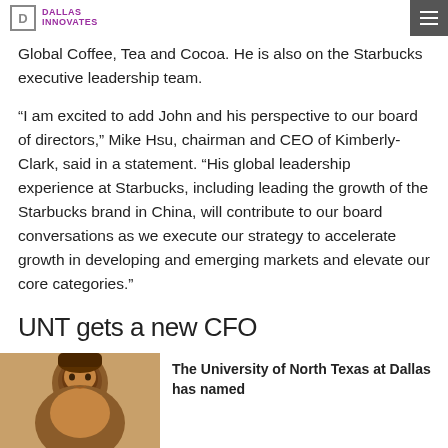Dallas Innovates
Global Coffee, Tea and Cocoa. He is also on the Starbucks executive leadership team.
“I am excited to add John and his perspective to our board of directors,” Mike Hsu, chairman and CEO of Kimberly-Clark, said in a statement. “His global leadership experience at Starbucks, including leading the growth of the Starbucks brand in China, will contribute to our board conversations as we execute our strategy to accelerate growth in developing and emerging markets and elevate our core categories.”
UNT gets a new CFO
[Figure (photo): Headshot photo of a man against a warm background]
The University of North Texas at Dallas has named